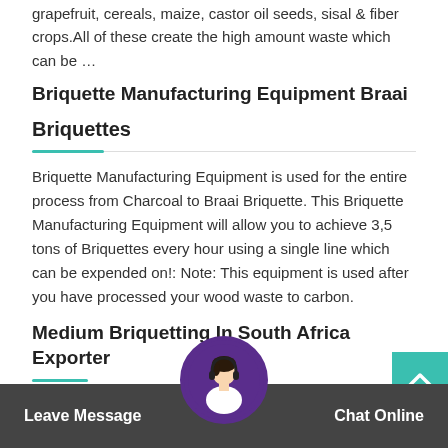grapefruit, cereals, maize, castor oil seeds, sisal & fiber crops.All of these create the high amount waste which can be …
Briquette Manufacturing Equipment Braai
Briquettes
Briquette Manufacturing Equipment is used for the entire process from Charcoal to Braai Briquette. This Briquette Manufacturing Equipment will allow you to achieve 3,5 tons of Briquettes every hour using a single line which can be expended on!: Note: This equipment is used after you have processed your wood waste to carbon.
Medium Briquetting In South Africa Exporter
Briquetting In South Africa are exporting Multi-talented Briquetting Plant Manufacturers to B...